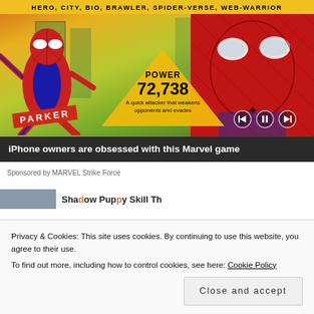[Figure (screenshot): Marvel Strike Force mobile game advertisement showing two Spider-Man characters, animated on left and live-action on right, with yellow/green city background. Center yellow triangle shows POWER 72,738 with text 'A quick attacker that weakens opponents and evades'. Top tag reads HERO, CITY, BIO, BRAWLER, SPIDER-VERSE, WEB-WARRIOR. Media playback controls visible bottom right. Black caption bar reads 'iPhone owners are obsessed with this Marvel game'.]
Sponsored by MARVEL Strike Force
Privacy & Cookies: This site uses cookies. By continuing to use this website, you agree to their use.
To find out more, including how to control cookies, see here: Cookie Policy
Close and accept